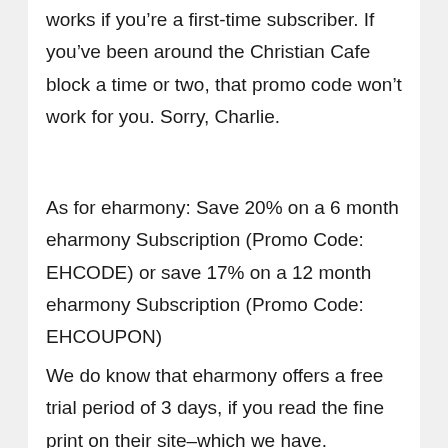works if you're a first-time subscriber. If you've been around the Christian Cafe block a time or two, that promo code won't work for you. Sorry, Charlie.
As for eharmony: Save 20% on a 6 month eharmony Subscription (Promo Code: EHCODE) or save 17% on a 12 month eharmony Subscription (Promo Code: EHCOUPON)
We do know that eharmony offers a free trial period of 3 days, if you read the fine print on their site–which we have. Basically, you sign up for an account, create a profile, pay for